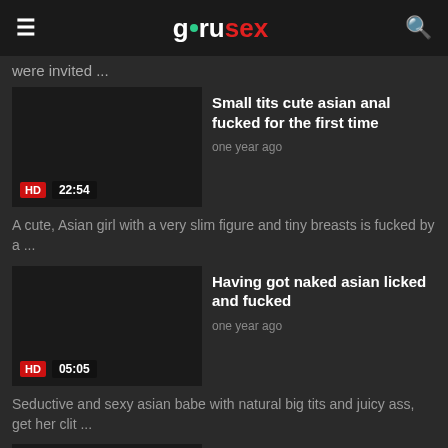gurusex
were invited ...
Small tits cute asian anal fucked for the first time
one year ago
HD  22:54
A cute, Asian girl with a very slim figure and tiny breasts is fucked by a ...
Having got naked asian licked and fucked
one year ago
HD  05:05
Seductive and sexy asian babe with natural big tits and juicy ass, get her clit ...
Super excited, she greets and surprises her stepbrother, completely naked